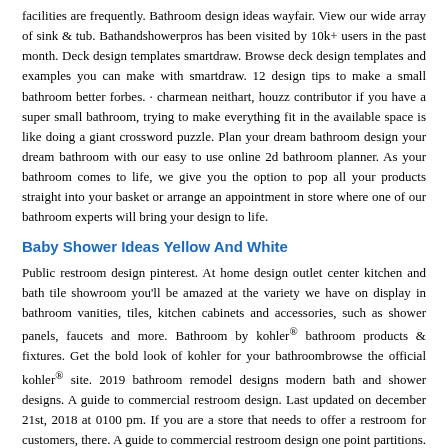facilities are frequently. Bathroom design ideas wayfair. View our wide array of sink & tub. Bathandshowerpros has been visited by 10k+ users in the past month. Deck design templates smartdraw. Browse deck design templates and examples you can make with smartdraw. 12 design tips to make a small bathroom better forbes. · charmean neithart, houzz contributor if you have a super small bathroom, trying to make everything fit in the available space is like doing a giant crossword puzzle. Plan your dream bathroom design your dream bathroom with our easy to use online 2d bathroom planner. As your bathroom comes to life, we give you the option to pop all your products straight into your basket or arrange an appointment in store where one of our bathroom experts will bring your design to life.
Baby Shower Ideas Yellow And White
Public restroom design pinterest. At home design outlet center kitchen and bath tile showroom you'll be amazed at the variety we have on display in bathroom vanities, tiles, kitchen cabinets and accessories, such as shower panels, faucets and more. Bathroom by kohler® bathroom products & fixtures. Get the bold look of kohler for your bathroombrowse the official kohler® site. 2019 bathroom remodel designs modern bath and shower designs. A guide to commercial restroom design. Last updated on december 21st, 2018 at 0100 pm. If you are a store that needs to offer a restroom for customers, there. A guide to commercial restroom design one point partitions. Faucets to find the style for you. Police mcdonald's manager arrested for taking picture of. Police arrested a mcdonald's store manager friday after police say he took pictures of a 10yearold boy in the store's restroom.